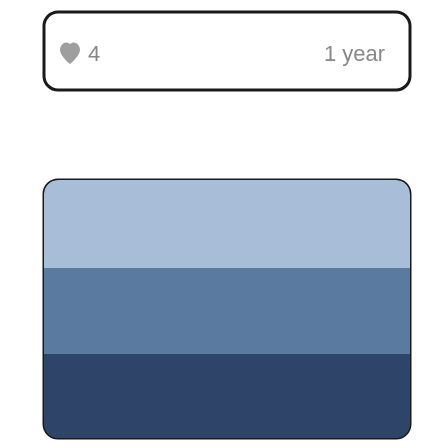[Figure (other): Top card UI element with white background, rounded corners, dark border, showing a gray heart icon with the number 4 on the left and '1 year' text on the right]
[Figure (other): Color palette card with rounded corners and dark border showing three horizontal bands of blue: light blue (top), medium steel blue (middle), dark navy blue (bottom)]